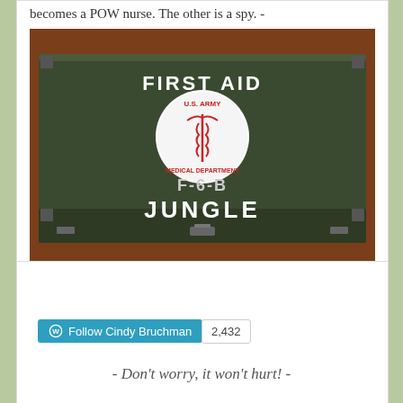becomes a POW nurse. The other is a spy. -
[Figure (photo): A vintage U.S. Army military first aid kit box painted dark olive green. The lid reads 'FIRST AID' stencilled in white at the top, with a circular U.S. Army Medical Department emblem in the center showing a caduceus. Below reads 'F-6-B' and 'JUNGLE' in large white stencilled letters. The box sits on a brown wooden surface.]
Follow Cindy Bruchman  2,432
- Don't worry, it won't hurt! -